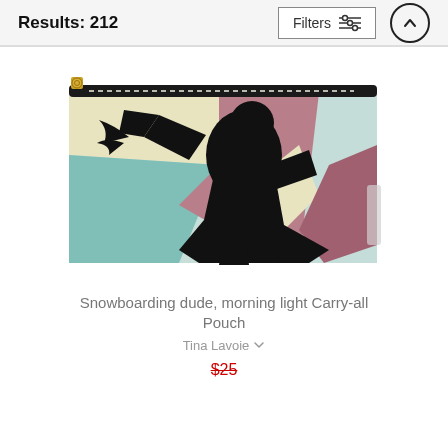Results: 212
[Figure (screenshot): Filters button with sliders icon and an up-arrow circle button]
[Figure (photo): A carry-all pouch product showing a silhouette of a snowboarder in black against a colorful abstract background of teal, cream, and mauve tones, with a gold zipper at top]
Snowboarding dude, morning light Carry-all Pouch
Tina Lavoie
$25